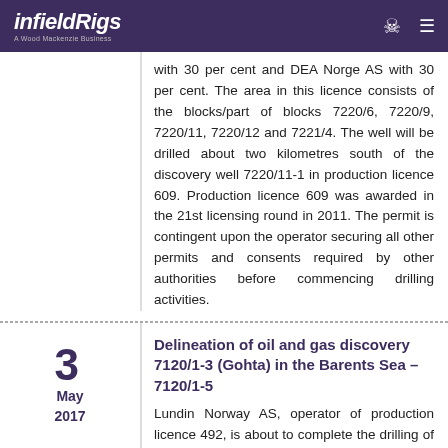infieldRigs – A Wood Mackenzie Business
with 30 per cent and DEA Norge AS with 30 per cent. The area in this licence consists of the blocks/part of blocks 7220/6, 7220/9, 7220/11, 7220/12 and 7221/4. The well will be drilled about two kilometres south of the discovery well 7220/11-1 in production licence 609. Production licence 609 was awarded in the 21st licensing round in 2011. The permit is contingent upon the operator securing all other permits and consents required by other authorities before commencing drilling activities.
Delineation of oil and gas discovery 7120/1-3 (Gohta) in the Barents Sea – 7120/1-5
3 May 2017
Lundin Norway AS, operator of production licence 492, is about to complete the drilling of appraisal well 7120/1-5 on the oil and gas discovery 7120/1-3 (Gohta). The well was drilled about four kilometres north of the discovery well, about three kilometers east of appraisal well 7120/1-4 S,